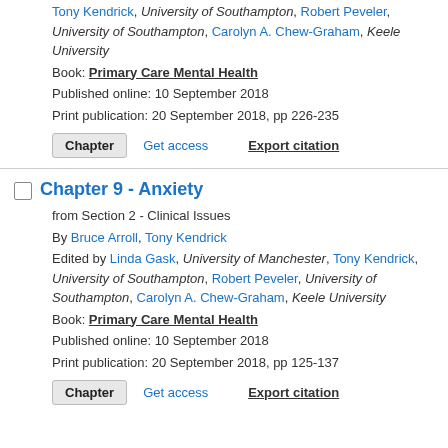Tony Kendrick, University of Southampton, Robert Peveler, University of Southampton, Carolyn A. Chew-Graham, Keele University
Book: Primary Care Mental Health
Published online: 10 September 2018
Print publication: 20 September 2018, pp 226-235
Chapter | Get access | Export citation
Chapter 9 - Anxiety
from Section 2 - Clinical Issues
By Bruce Arroll, Tony Kendrick
Edited by Linda Gask, University of Manchester, Tony Kendrick, University of Southampton, Robert Peveler, University of Southampton, Carolyn A. Chew-Graham, Keele University
Book: Primary Care Mental Health
Published online: 10 September 2018
Print publication: 20 September 2018, pp 125-137
Chapter | Get access | Export citation